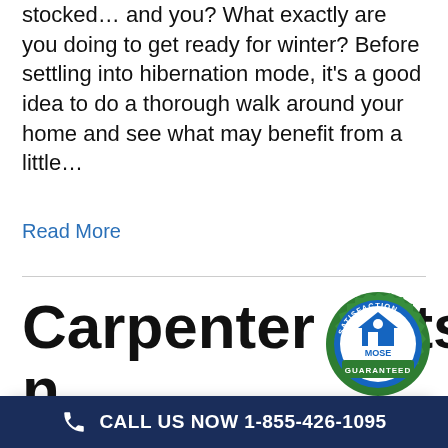stocked… and you? What exactly are you doing to get ready for winter? Before settling into hibernation mode, it's a good idea to do a thorough walk around your home and see what may benefit from a little…
Read More
Carpenter Ants a
n,
[Figure (logo): Satisfaction Guaranteed badge - circular green seal with MOSE logo in centre and text SATISFACTION around top and GUARANTEED around bottom in green ribbon]
We use cookies to analyse our traffic and create a better user experience for you. Using the site means you agree to our use of cookies. More information can be found here.
Cookie settings   ACCEPT
Symptom
CALL US NOW 1-855-426-1095